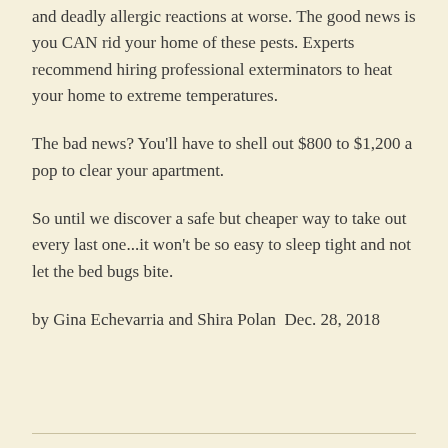and deadly allergic reactions at worse. The good news is you CAN rid your home of these pests. Experts recommend hiring professional exterminators to heat your home to extreme temperatures.
The bad news? You'll have to shell out $800 to $1,200 a pop to clear your apartment.
So until we discover a safe but cheaper way to take out every last one...it won't be so easy to sleep tight and not let the bed bugs bite.
by Gina Echevarria and Shira Polan  Dec. 28, 2018